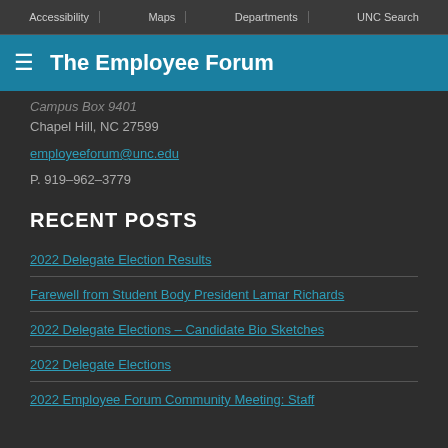Accessibility | Maps | Departments | UNC Search
The Employee Forum
Campus Box 9401
Chapel Hill, NC 27599
employeeforum@unc.edu
P. 919-962-3779
RECENT POSTS
2022 Delegate Election Results
Farewell from Student Body President Lamar Richards
2022 Delegate Elections – Candidate Bio Sketches
2022 Delegate Elections
2022 Employee Forum Community Meeting: Staff